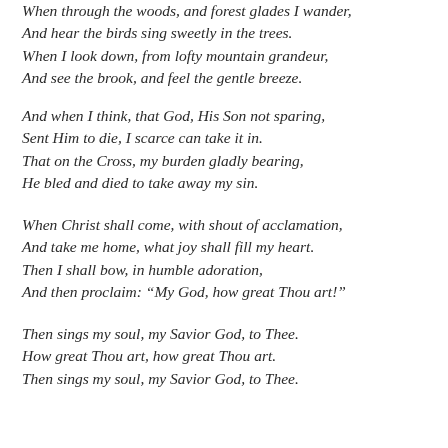When through the woods, and forest glades I wander,
And hear the birds sing sweetly in the trees.
When I look down, from lofty mountain grandeur,
And see the brook, and feel the gentle breeze.
And when I think, that God, His Son not sparing,
Sent Him to die, I scarce can take it in.
That on the Cross, my burden gladly bearing,
He bled and died to take away my sin.
When Christ shall come, with shout of acclamation,
And take me home, what joy shall fill my heart.
Then I shall bow, in humble adoration,
And then proclaim: “My God, how great Thou art!”
Then sings my soul, my Savior God, to Thee.
How great Thou art, how great Thou art.
Then sings my soul, my Savior God, to Thee.